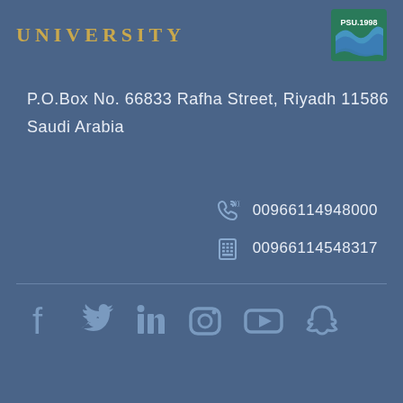UNIVERSITY
[Figure (logo): PSU 1998 university logo with wave graphic, green and teal badge]
P.O.Box No. 66833 Rafha Street, Riyadh 11586
Saudi Arabia
00966114948000
00966114548317
[Figure (infographic): Social media icons row: Facebook, Twitter, LinkedIn, Instagram, YouTube, Snapchat]